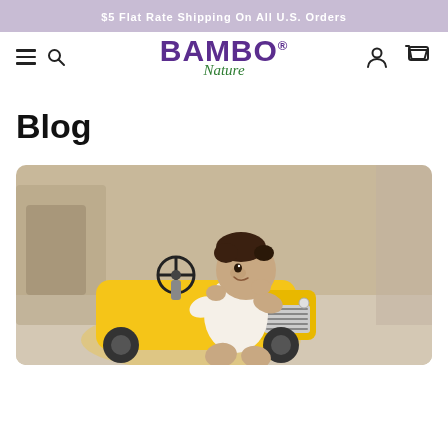$5 Flat Rate Shipping On All U.S. Orders
[Figure (logo): Bambo Nature logo with purple BAMBO text and green italic Nature text]
Blog
[Figure (photo): A smiling baby in a white onesie leaning on a yellow toy ride-on car/tractor with chrome grill details, photographed indoors on a light floor]